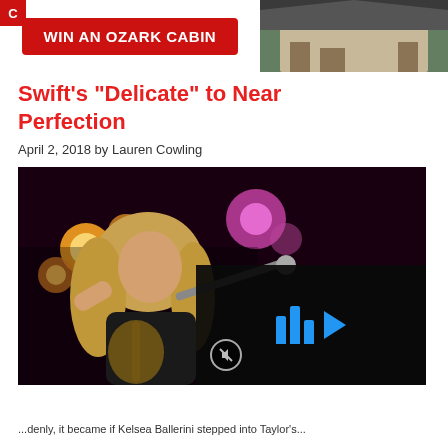[Figure (infographic): Advertisement banner: dark background with red button 'WIN AN OZARK CABIN' and a photo of a cabin on the right side]
Swift's “Delicate” to Near Perfection
April 2, 2018 by Lauren Cowling
[Figure (photo): Female singer with long blonde hair performing on stage with a microphone, stage lights behind her including orange/amber lights and a pink/purple light. A video player overlay appears on the lower right with blue play bar icons and a play button triangle, and a mute icon in the lower left.]
...denly, it became if Kelsea Ballerini stepped into Taylor's...